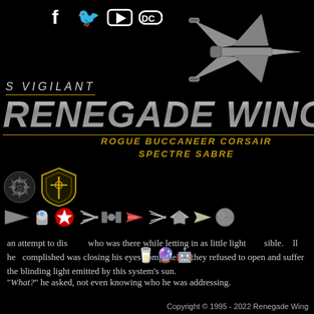[Figure (illustration): Social media icons: Facebook, Twitter, YouTube, Discord in white on black background]
[Figure (photo): X-Wing starfighter render in silver/white on black background, top right]
S VIGILANT / RENEGADE WING
ROGUE BUCCANEER CORSAIR / SPECTRE SABRE
[Figure (logo): Rebel Alliance symbol and Renegade Wing shield badge logos]
[Figure (illustration): Row of Star Wars icon navigation images: ship silhouettes, rebel symbol, R2-D2, etc.]
an attempt to dis who was there while letting in as little light a sible. ll he accomplished was closing his eyes completely - they refused to open and suffer the blinding light emitted by this system's sun.
“What?” he asked, not even knowing who he was addressing.
Copyright © 1995 - 2022 Renegade Wing